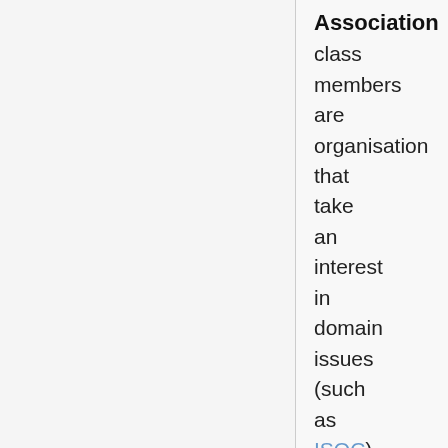Association
class members are organisation that take an interest in domain issues (such as ISOC).